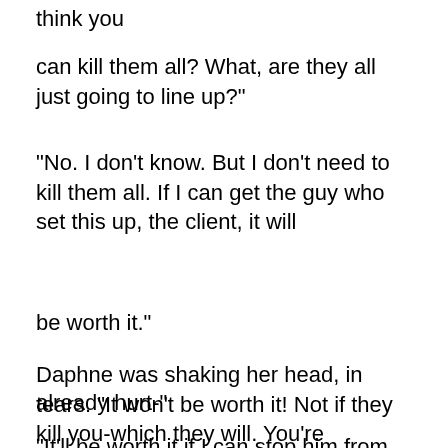think you
can kill them all? What, are they all just going to line up?"
"No. I don't know. But I don't need to kill them all. If I can get the guy who set this up, the client, it will
be worth it."
Daphne was shaking her head, in tears. "It won't be worth it! Not if they kill you-which they will. You're
already hurt-"
"It'll be worth it if I can stop him from doing